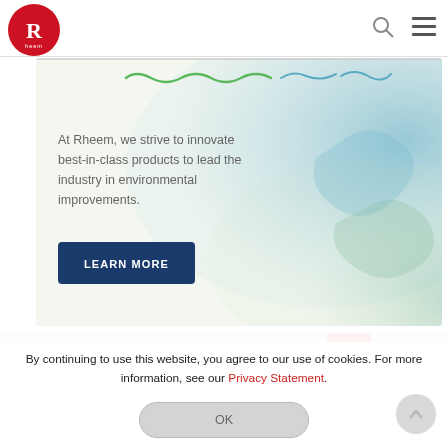[Figure (logo): Rheem red circle logo with white R letter]
[Figure (illustration): Watercolor-style hero banner with teal and green watercolor washes, decorative squiggle lines at top, and a Learn More button]
At Rheem, we strive to innovate best-in-class products to lead the industry in environmental improvements.
By continuing to use this website, you agree to our use of cookies. For more information, see our Privacy Statement.
OK